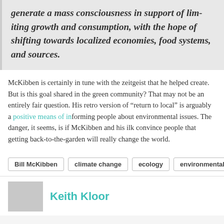generate a mass consciousness in support of limiting growth and consumption, with the hope of shifting towards localized economies, food systems, and sources.
McKibben is certainly in tune with the zeitgeist that he helped create. But is this goal shared in the green community? That may not be an entirely fair question. His retro version of "return to local" is arguably a positive means of increasing awareness of environmental issues. The danger, it seems, is if McKibben and his ilk convince people that getting back-to-the-garden will really change the world.
Bill McKibben
climate change
ecology
environmentalism
Keith Kloor